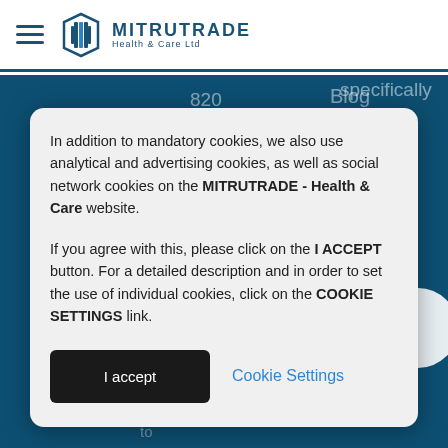MITRUTRADE Health & Care Ltd
820 (SLOVENIA
Blog
specifically selected by its meaning...
In addition to mandatory cookies, we also use analytical and advertising cookies, as well as social network cookies on the MITRUTRADE - Health & Care website.

If you agree with this, please click on the I ACCEPT button. For a detailed description and in order to set the use of individual cookies, click on the COOKIE SETTINGS link.
I accept
Cookie Settings